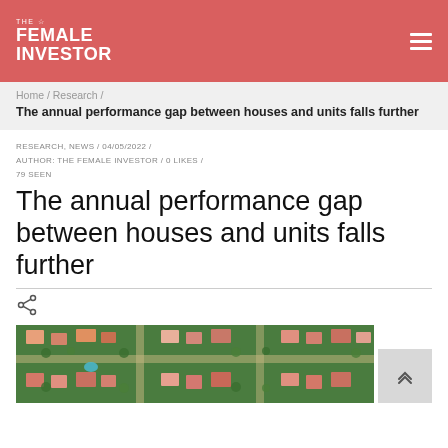THE FEMALE INVESTOR
Home / Research / The annual performance gap between houses and units falls further
RESEARCH, NEWS / 04/05/2022 / AUTHOR: THE FEMALE INVESTOR / 0 LIKES / 79 SEEN
The annual performance gap between houses and units falls further
[Figure (photo): Aerial view of a residential neighborhood with houses and green trees]